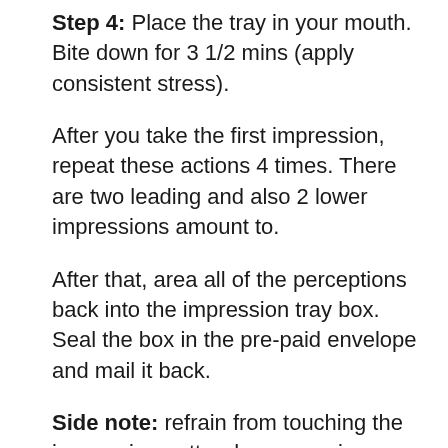Step 4: Place the tray in your mouth. Bite down for 3 1/2 mins (apply consistent stress).
After you take the first impression, repeat these actions 4 times. There are two leading and also 2 lower impressions amount to.
After that, area all of the perceptions back into the impression tray box. Seal the box in the pre-paid envelope and mail it back.
Side note: refrain from touching the impression putty when removing as well as later. This can change the perceptions. Likewise, you may experience some taste but decline after a bit, and is a norm of the